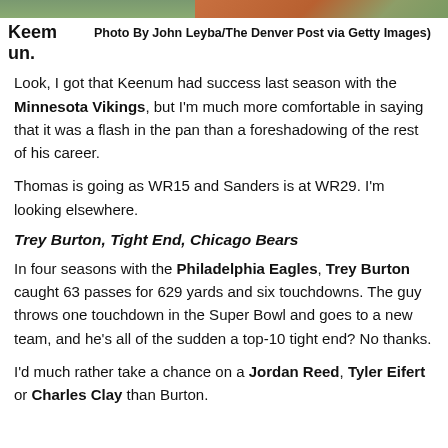[Figure (photo): Top portion of a photo showing a football player, cropped. Green background visible.]
Keenum. Photo By John Leyba/The Denver Post via Getty Images)
Look, I got that Keenum had success last season with the Minnesota Vikings, but I'm much more comfortable in saying that it was a flash in the pan than a foreshadowing of the rest of his career.
Thomas is going as WR15 and Sanders is at WR29. I'm looking elsewhere.
Trey Burton, Tight End, Chicago Bears
In four seasons with the Philadelphia Eagles, Trey Burton caught 63 passes for 629 yards and six touchdowns. The guy throws one touchdown in the Super Bowl and goes to a new team, and he's all of the sudden a top-10 tight end? No thanks.
I'd much rather take a chance on a Jordan Reed, Tyler Eifert or Charles Clay than Burton.